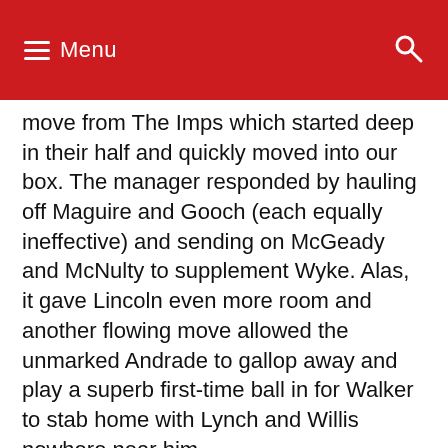Menu
move from The Imps which started deep in their half and quickly moved into our box. The manager responded by hauling off Maguire and Gooch (each equally ineffective) and sending on McGeady and McNulty to supplement Wyke. Alas, it gave Lincoln even more room and another flowing move allowed the unmarked Andrade to gallop away and play a superb first-time ball in for Walker to stab home with Lynch and Willis nowhere near him.
We could have gone home then. There were some dismal attempts to get back into the game, but the City defence was comfortable with the limited options that we had and they were worthy winners at the end. They had everything